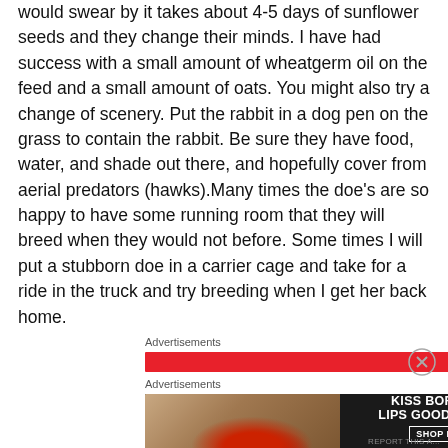would swear by it takes about 4-5 days of sunflower seeds and they change their minds. I have had success with a small amount of wheatgerm oil on the feed and a small amount of oats. You might also try a change of scenery. Put the rabbit in a dog pen on the grass to contain the rabbit. Be sure they have food, water, and shade out there, and hopefully cover from aerial predators (hawks).Many times the doe's are so happy to have some running room that they will breed when they would not before. Some times I will put a stubborn doe in a carrier cage and take for a ride in the truck and try breeding when I get her back home.
Advertisements
[Figure (other): Red advertisement loading bar]
Advertisements
[Figure (other): Macy's lipstick advertisement banner reading KISS BORING LIPS GOODBYE with SHOP NOW button and macy's logo star]